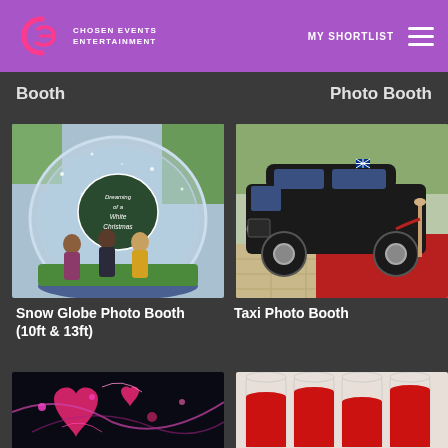[Figure (logo): Chosen Events Entertainment logo with pink/magenta stylized CE letters on purple header background]
MY SHORTLIST  ☰
Booth
Photo Booth
[Figure (photo): Snow globe photo booth with people standing inside a large transparent inflatable globe with Christmas scene decoration]
[Figure (photo): Black London taxi cab on red carpet with gold rope barriers outside a venue]
Snow Globe Photo Booth (10ft & 13ft)
Taxi Photo Booth
[Figure (photo): Partially visible photo with dark background showing pink/magenta heart and light patterns]
[Figure (photo): Partially visible photo showing cylindrical containers with red liquid]